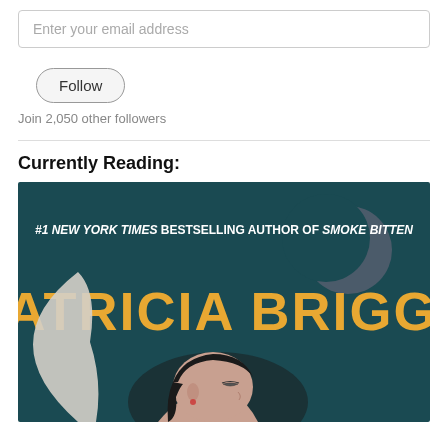Enter your email address
Follow
Join 2,050 other followers
Currently Reading:
[Figure (illustration): Book cover for a Patricia Briggs novel. Dark teal background with a crescent moon. Author name 'PATRICIA BRIGGS' in large gold letters. Subtext reads '#1 NEW YORK TIMES BESTSELLING AUTHOR OF SMOKE BITTEN'. A woman with dark hair is shown in profile with eyes closed.]